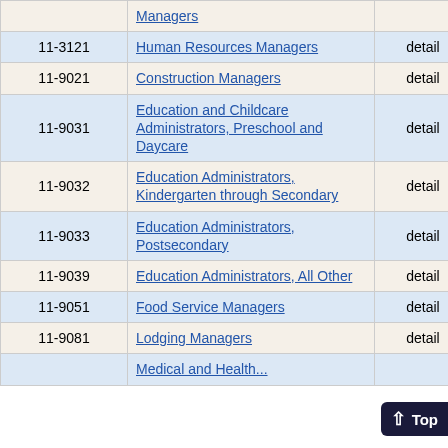| Code | Title | Level | Col4 | Col5 |
| --- | --- | --- | --- | --- |
|  | Managers |  |  |  |
| 11-3121 | Human Resources Managers | detail | 80 | 7 |
| 11-9021 | Construction Managers | detail | 170 | 10 |
| 11-9031 | Education and Childcare Administrators, Preschool and Daycare | detail | 40 | 10 |
| 11-9032 | Education Administrators, Kindergarten through Secondary | detail | 220 | 1 |
| 11-9033 | Education Administrators, Postsecondary | detail | 140 | 15 |
| 11-9039 | Education Administrators, All Other | detail | 30 | 8 |
| 11-9051 | Food Service Managers | detail | 220 | 12 |
| 11-9081 | Lodging Managers | detail | 5 |  |
|  | Medical and Health... |  |  |  |